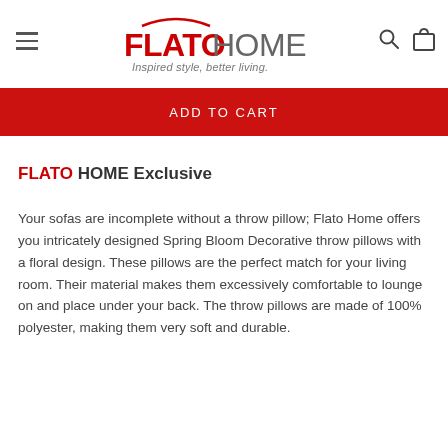FLATO HOME — Inspired style, better living.
ADD TO CART
FLATO HOME Exclusive
Your sofas are incomplete without a throw pillow; Flato Home offers you intricately designed Spring Bloom Decorative throw pillows with a floral design. These pillows are the perfect match for your living room. Their material makes them excessively comfortable to lounge on and place under your back. The throw pillows are made of 100% polyester, making them very soft and durable.